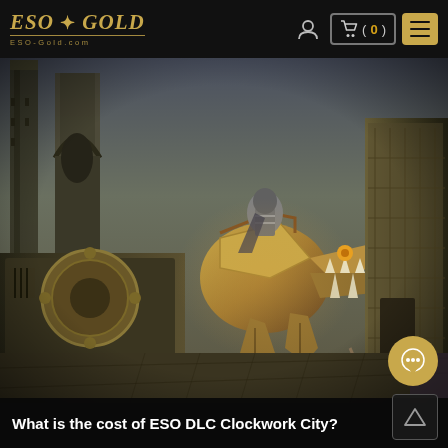ESO-GOLD
[Figure (screenshot): ESO Clockwork City DLC screenshot showing an armored character riding a mechanical dinosaur/dragon mount in a steampunk-style environment with tall stone towers and gears]
What is the cost of ESO DLC Clockwork City?